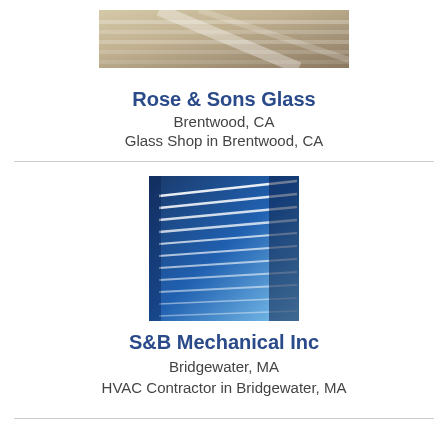[Figure (photo): Top portion of a glass shop / window blinds photo, cropped at the top of the page]
Rose & Sons Glass
Brentwood, CA
Glass Shop in Brentwood, CA
[Figure (photo): Photo of blue-toned HVAC ventilation duct or blinds seen in perspective]
S&B Mechanical Inc
Bridgewater, MA
HVAC Contractor in Bridgewater, MA